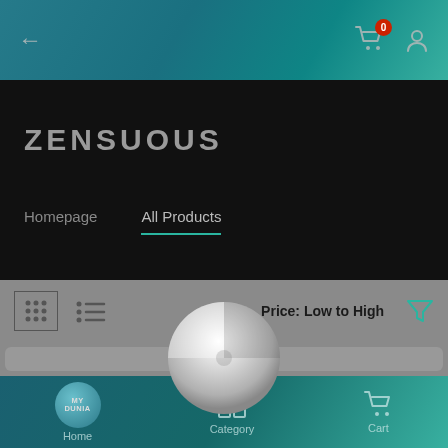Back arrow, Cart (0), User icon
ZENSUOUS
Homepage   All Products
[Figure (screenshot): App product listing page with grid/list view toggle, sort by Price: Low to High, filter icon, loading spinner overlay, and two product card placeholders]
Home   Category   Cart